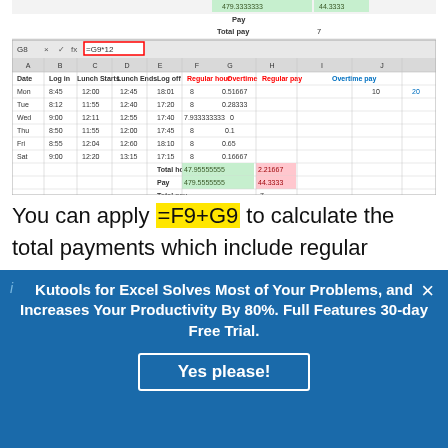[Figure (screenshot): Screenshot of Microsoft Excel spreadsheet showing a timesheet with columns: Date, Log in, Lunch Starts, Lunch Ends, Log off, Regular hour, Overtime, Regular pay, Overtime pay. Rows include Mon-Sat with times and decimal values. Totals rows show Total hours, Pay, and Total pay. Formula bar shows =G9*12. Cell G8 is selected showing 2.21667. Total hours: 47.95555555 and 2.21667. Pay: 479.5555555 and 44.3333. Total pay row with 7.]
You can apply =F9+G9 to calculate the total payments which include regular payments and
Kutools for Excel Solves Most of Your Problems, and Increases Your Productivity By 80%. Full Features 30-day Free Trial.
Yes please!